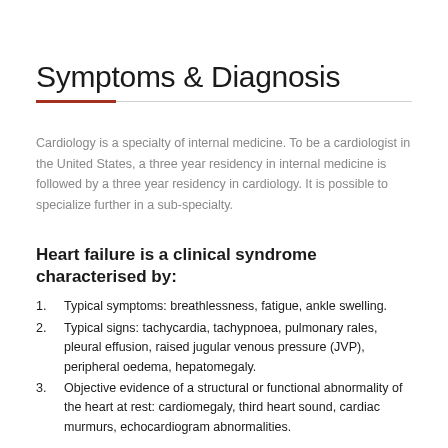Symptoms & Diagnosis
Cardiology is a specialty of internal medicine. To be a cardiologist in the United States, a three year residency in internal medicine is followed by a three year residency in cardiology. It is possible to specialize further in a sub-specialty.
Heart failure is a clinical syndrome characterised by:
Typical symptoms: breathlessness, fatigue, ankle swelling.
Typical signs: tachycardia, tachypnoea, pulmonary rales, pleural effusion, raised jugular venous pressure (JVP), peripheral oedema, hepatomegaly.
Objective evidence of a structural or functional abnormality of the heart at rest: cardiomegaly, third heart sound, cardiac murmurs, echocardiogram abnormalities.